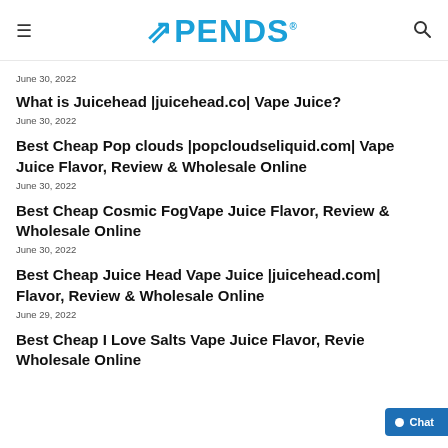UPENDS
June 30, 2022
What is Juicehead |juicehead.co| Vape Juice?
June 30, 2022
Best Cheap Pop clouds |popcloudseliquid.com| Vape Juice Flavor, Review & Wholesale Online
June 30, 2022
Best Cheap Cosmic FogVape Juice Flavor, Review & Wholesale Online
June 30, 2022
Best Cheap Juice Head Vape Juice |juicehead.com| Flavor, Review & Wholesale Online
June 29, 2022
Best Cheap I Love Salts Vape Juice Flavor, Review & Wholesale Online